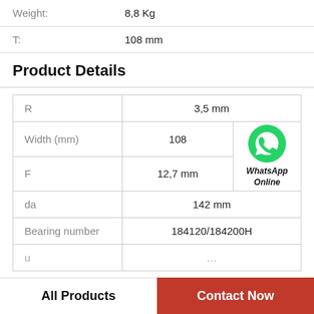Weight: 8,8 Kg
T: 108 mm
Product Details
|  |  |  |
| --- | --- | --- |
| R | 3,5 mm |  |
| Width (mm) | 108 | WhatsApp Online |
| F | 12,7 mm |  |
| da | 142 mm |  |
| Bearing number | 184120/184200H |  |
| u | ... |  |
All Products
Contact Now